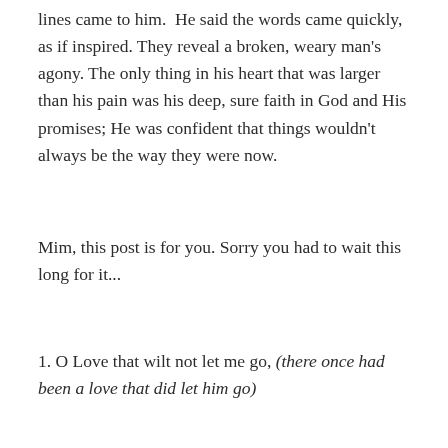lines came to him.  He said the words came quickly, as if inspired. They reveal a broken, weary man's agony. The only thing in his heart that was larger than his pain was his deep, sure faith in God and His promises; He was confident that things wouldn't always be the way they were now.
Mim, this post is for you. Sorry you had to wait this long for it...
1. O Love that wilt not let me go, (there once had been a love that did let him go)